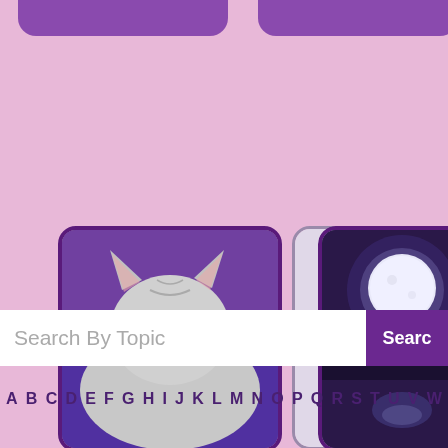[Figure (screenshot): Purple rounded rectangle button at top left, partially visible]
[Figure (screenshot): Purple rounded rectangle button at top right, partially visible]
[Figure (photo): Photo of a gray and white cat lying on a purple background]
[Figure (photo): Photo of a purple/violet hardcover book standing upright]
[Figure (photo): Photo of a full moon over a city skyline at night with purple tones]
Search By Topic
Searc
A B C D E F G H I J K L M N O P Q R S T U V W